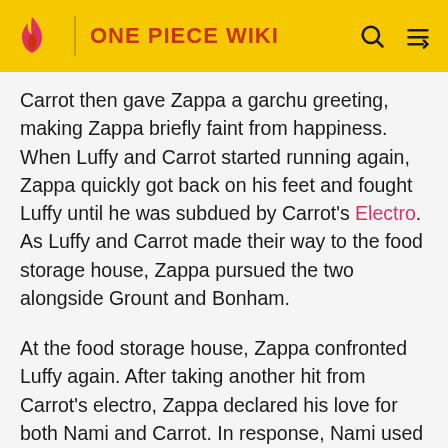ONE PIECE WIKI
Carrot then gave Zappa a garchu greeting, making Zappa briefly faint from happiness. When Luffy and Carrot started running again, Zappa quickly got back on his feet and fought Luffy until he was subdued by Carrot's Electro. As Luffy and Carrot made their way to the food storage house, Zappa pursued the two alongside Grount and Bonham.
At the food storage house, Zappa confronted Luffy again. After taking another hit from Carrot's electro, Zappa declared his love for both Nami and Carrot. In response, Nami used Thunderbreed Tempo on him. However, before Luffy and his group left the storehouse, Zappa once again confronted Luffy and unleashed his Burning Blow attack. Luffy then redirected the attack to a water tank on the